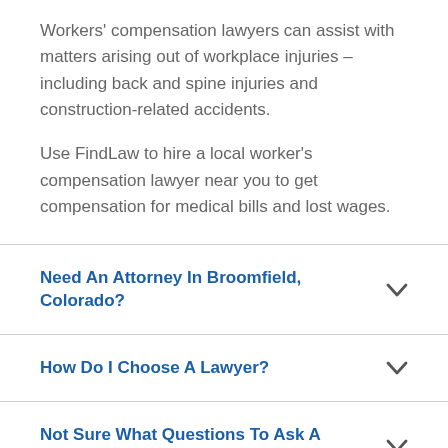Workers' compensation lawyers can assist with matters arising out of workplace injuries – including back and spine injuries and construction-related accidents.
Use FindLaw to hire a local worker's compensation lawyer near you to get compensation for medical bills and lost wages.
Need An Attorney In Broomfield, Colorado?
How Do I Choose A Lawyer?
Not Sure What Questions To Ask A Lawyer?